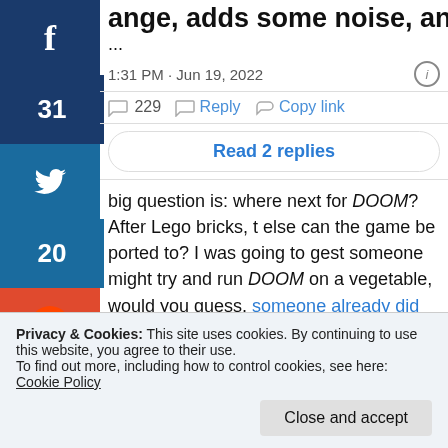ange, adds some noise, and thresholds
1:31 PM · Jun 19, 2022
229  Reply  Copy link
Read 2 replies
big question is: where next for DOOM? After Lego bricks, t else can the game be ported to? I was going to gest someone might try and run DOOM on a vegetable, would you guess, someone already did that?!
Privacy & Cookies: This site uses cookies. By continuing to use this website, you agree to their use. To find out more, including how to control cookies, see here: Cookie Policy
Close and accept